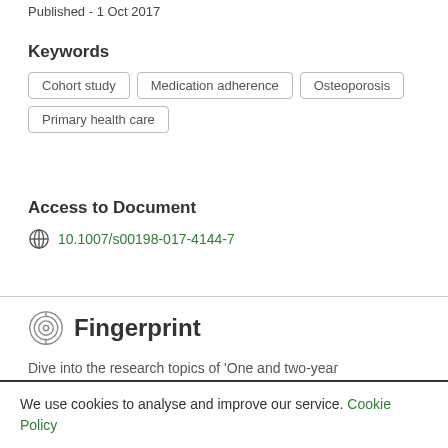Published - 1 Oct 2017
Keywords
Cohort study
Medication adherence
Osteoporosis
Primary health care
Access to Document
10.1007/s00198-017-4144-7
Fingerprint
Dive into the research topics of 'One and two-year
We use cookies to analyse and improve our service. Cookie Policy